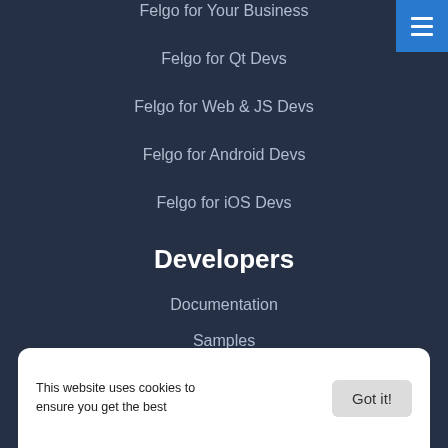Felgo for Your Business
Felgo for Qt Devs
Felgo for Web & JS Devs
Felgo for Android Devs
Felgo for iOS Devs
Developers
Documentation
Samples
Community
Support Forums
This website uses cookies to ensure you get the best
Got it!